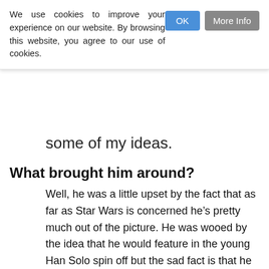We use cookies to improve your experience on our website. By browsing this website, you agree to our use of cookies.
some of my ideas.
What brought him around?
Well, he was a little upset by the fact that as far as Star Wars is concerned he’s pretty much out of the picture. He was wooed by the idea that he would feature in the young Han Solo spin off but the sad fact is that he is too old to play the young Han Solo, but no one got round to telling Harrison that. So he was pissed. That was what made him change his mind on the Indiana Jones idea. But then I went one further and suggested that